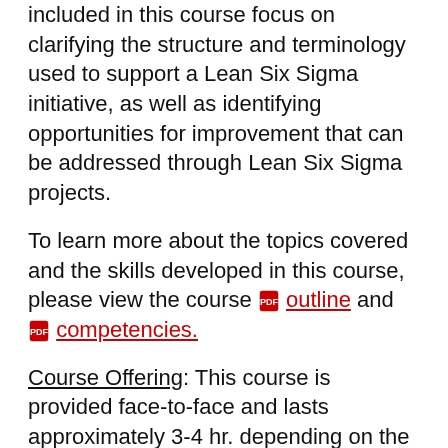included in this course focus on clarifying the structure and terminology used to support a Lean Six Sigma initiative, as well as identifying opportunities for improvement that can be addressed through Lean Six Sigma projects.
To learn more about the topics covered and the skills developed in this course, please view the course [pdf icon] outline and [pdf icon] competencies.
Course Offering: This course is provided face-to-face and lasts approximately 3-4 hr. depending on the needs of the organization. Please contact us to obtain a quote for holding this course on-site at your location for a group of approximately 10-20 participants.
1-Day Overview